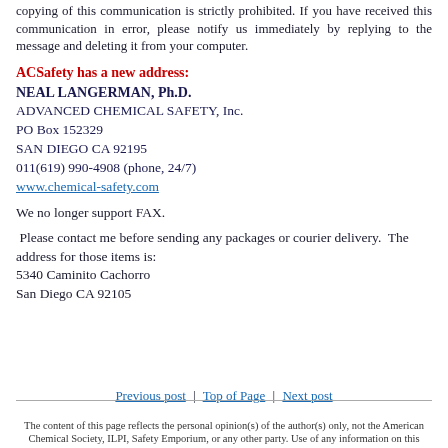copying of this communication is strictly prohibited. If you have received this communication in error, please notify us immediately by replying to the message and deleting it from your computer.
ACSafety has a new address:
NEAL LANGERMAN, Ph.D.
ADVANCED CHEMICAL SAFETY, Inc.
PO Box 152329
SAN DIEGO CA 92195
011(619) 990-4908 (phone, 24/7)
www.chemical-safety.com
We no longer support FAX.
Please contact me before sending any packages or courier delivery.  The address for those items is:
5340 Caminito Cachorro
San Diego CA 92105
Previous post  |  Top of Page  |  Next post
The content of this page reflects the personal opinion(s) of the author(s) only, not the American Chemical Society, ILPI, Safety Emporium, or any other party. Use of any information on this